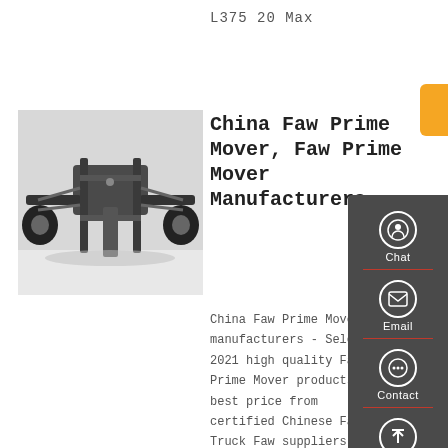L375 20 Max
Get a Quote
[Figure (photo): Underside/chassis view of a FAW truck/prime mover, showing axles, suspension, and drivetrain components from below]
China Faw Prime Mover, Faw Prime Mover Manufacturers
China Faw Prime Mover manufacturers - Select 2021 high quality Faw Prime Mover products in best price from certified Chinese Faw, Truck Faw suppliers,